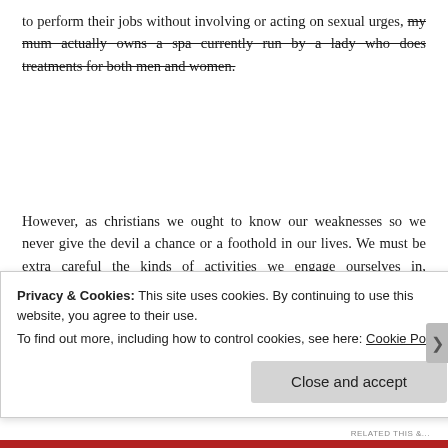to perform their jobs without involving or acting on sexual urges, my mum actually owns a spa currently run by a lady who does treatments for both men and women.
However, as christians we ought to know our weaknesses so we never give the devil a chance or a foothold in our lives. We must be extra careful the kinds of activities we engage ourselves in, particularly where it leads to sexual immorality. This can later trigger feelings of
Privacy & Cookies: This site uses cookies. By continuing to use this website, you agree to their use.
To find out more, including how to control cookies, see here: Cookie Policy
Close and accept